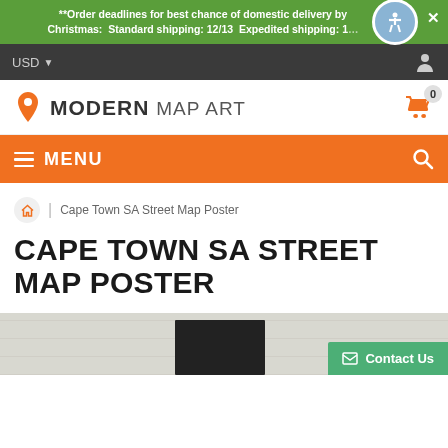**Order deadlines for best chance of domestic delivery by Christmas:  Standard shipping: 12/13  Expedited shipping: 1...
USD
[Figure (logo): Modern Map Art logo with orange map pin icon and text MODERN MAP ART]
MENU
Cape Town SA Street Map Poster
CAPE TOWN SA STREET MAP POSTER
[Figure (photo): Bottom portion of product image showing Cape Town SA Street Map Poster with Contact Us button]